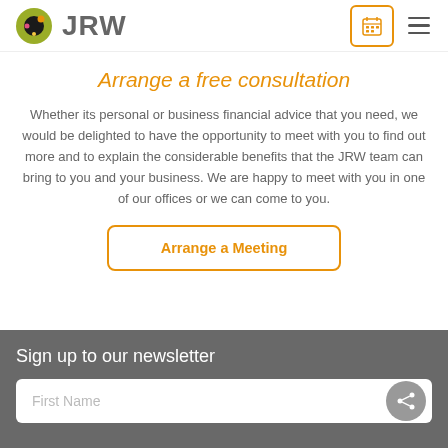JRW
Arrange a free consultation
Whether its personal or business financial advice that you need, we would be delighted to have the opportunity to meet with you to find out more and to explain the considerable benefits that the JRW team can bring to you and your business. We are happy to meet with you in one of our offices or we can come to you.
Arrange a Meeting
Sign up to our newsletter
First Name